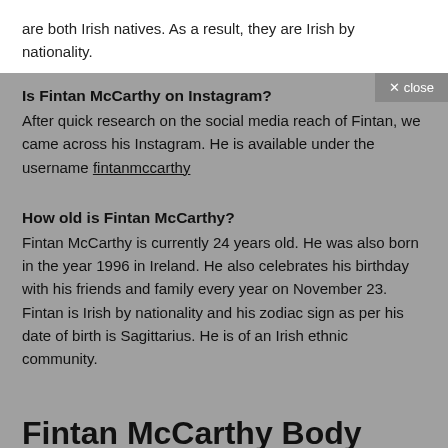are both Irish natives. As a result, they are Irish by nationality.
Is Fintan McCarthy on Instagram?
After quick research on the social media reach of Fintan, we came across his Instagram. He is available under the username fintanmccarthy
How old is Fintan McCarthy?
Fintan McCarthy is currently 24 years old. He was also born in the year 1996 in Ireland. He also celebrates his birthday with his friends and family every year on November 23. Fintan is Irish by nationality and his zodiac sign as per his date of birth is Sagittarius. He is of an Irish ethnic community.
Fintan McCarthy Body Appearance Height, Weight